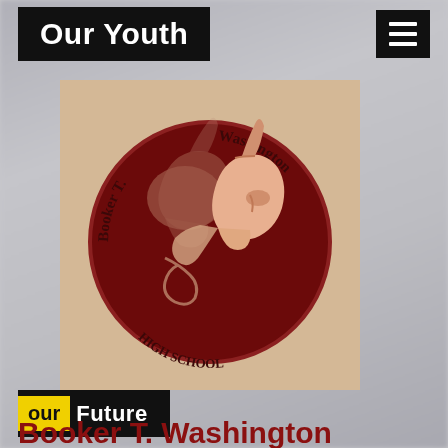Our Youth
[Figure (logo): Booker T. Washington High School circular logo with two Trojan helmet silhouettes on dark red and tan background, with school name text around the circle]
our Future
Booker T. Washington High School